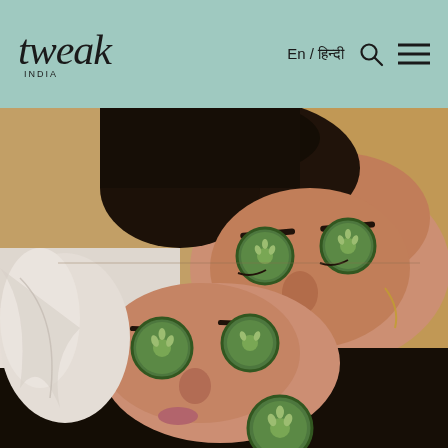tweak INDIA | En / हिन्दी | Search | Menu
[Figure (photo): Two women lying down with cucumber slices on their eyes, receiving a facial spa treatment. One woman wears a white robe. Overhead/top-down view.]